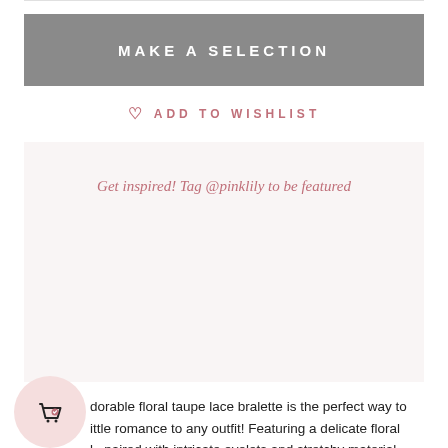MAKE A SELECTION
♡ ADD TO WISHLIST
Get inspired! Tag @pinklily to be featured
dorable floral taupe lace bralette is the perfect way to ittle romance to any outfit! Featuring a delicate floral l... paired with intricate eyelets and stretchy material, you're sure to love styling this look! You can easily wear this